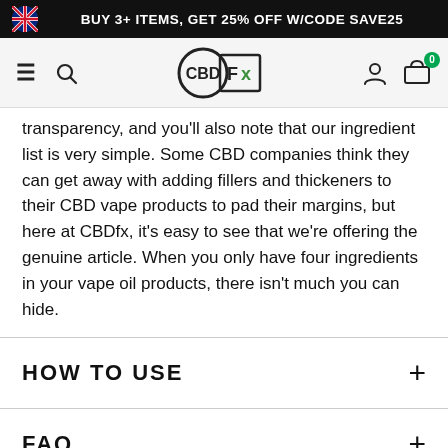BUY 3+ ITEMS, GET 25% OFF W/CODE SAVE25
[Figure (logo): CBDfx logo in navigation bar]
transparency, and you'll also note that our ingredient list is very simple. Some CBD companies think they can get away with adding fillers and thickeners to their CBD vape products to pad their margins, but here at CBDfx, it's easy to see that we're offering the genuine article. When you only have four ingredients in your vape oil products, there isn't much you can hide.
HOW TO USE
FAQ